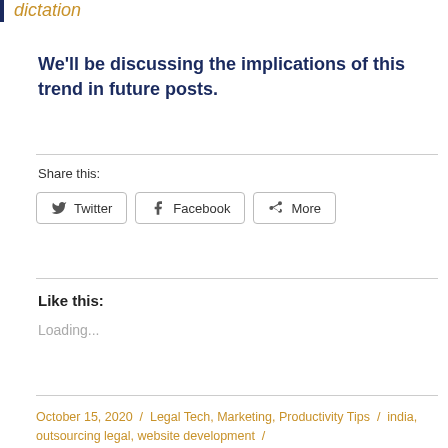dictation
We'll be discussing the implications of this trend in future posts.
Share this:
[Figure (other): Social share buttons: Twitter, Facebook, More]
Like this:
Loading...
October 15, 2020 / Legal Tech, Marketing, Productivity Tips / india, outsourcing legal, website development /